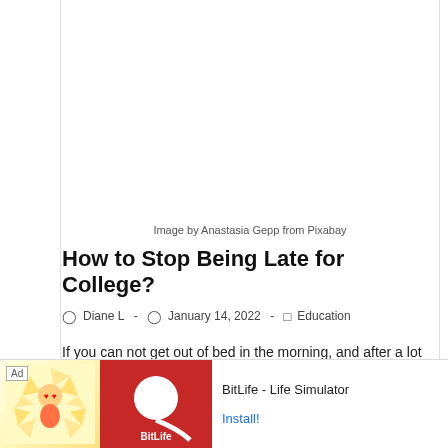[Figure (photo): Blank/white image area representing a photo credited to Anastasia Gepp from Pixabay]
Image by Anastasia Gepp from Pixabay
How to Stop Being Late for College?
Diane L  -  January 14, 2022  -  Education
If you can not get out of bed in the morning, and after a lot
[Figure (screenshot): Ad banner: BitLife - Life Simulator app advertisement with Install button]